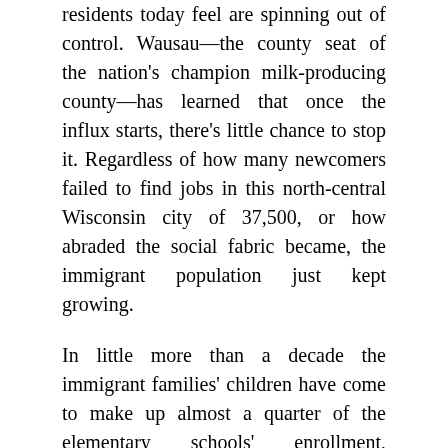residents today feel are spinning out of control. Wausau—the county seat of the nation's champion milk-producing county—has learned that once the influx starts, there's little chance to stop it. Regardless of how many newcomers failed to find jobs in this north-central Wisconsin city of 37,500, or how abraded the social fabric became, the immigrant population just kept growing.

In little more than a decade the immigrant families' children have come to make up almost a quarter of the elementary schools' enrollment, crowding facilities past their limits—and there's no peak in sight. The majority of immigrant students are Southeast Asians, and most of these are from the nomadic Hmong mountain tribes of Laos, which unsuccessfully tried to prevent a Communist takeover of their homeland some twenty years ago. Seventy percent of the immigrants and their descendants are receiving public assistance, because the local labor market has not been able to